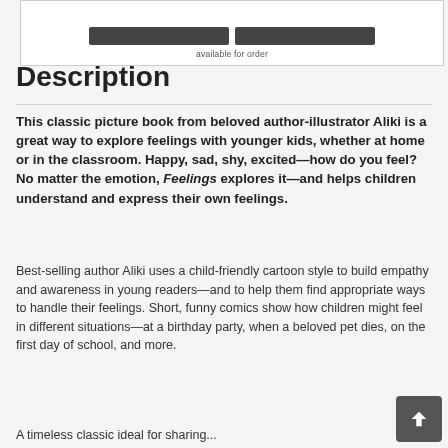[Figure (screenshot): Top portion of a product page showing two dark buttons and 'available for order' text inside a bordered box]
Description
This classic picture book from beloved author-illustrator Aliki is a great way to explore feelings with younger kids, whether at home or in the classroom. Happy, sad, shy, excited—how do you feel? No matter the emotion, Feelings explores it—and helps children understand and express their own feelings.
Best-selling author Aliki uses a child-friendly cartoon style to build empathy and awareness in young readers—and to help them find appropriate ways to handle their feelings. Short, funny comics show how children might feel in different situations—at a birthday party, when a beloved pet dies, on the first day of school, and more.
A timeless classic ideal for sharing...